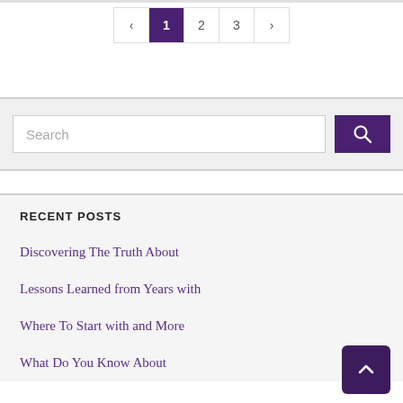[Figure (other): Pagination navigation bar with previous arrow, page 1 (active, purple background), page 2, page 3, and next arrow]
[Figure (other): Search bar with text input placeholder 'Search' and a purple search button with magnifying glass icon]
RECENT POSTS
Discovering The Truth About
Lessons Learned from Years with
Where To Start with and More
What Do You Know About